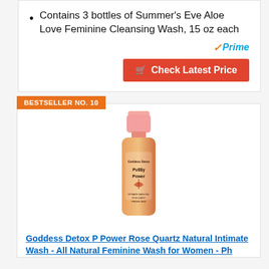Contains 3 bottles of Summer's Eve Aloe Love Feminine Cleansing Wash, 15 oz each
[Figure (logo): Amazon Prime logo with orange checkmark]
Check Latest Price
BESTSELLER NO. 10
[Figure (photo): Goddess Detox Pussy Power Rose Quartz Natural Intimate Wash product bottle with pink cap on orange gradient background]
Goddess Detox P Power Rose Quartz Natural Intimate Wash - All Natural Feminine Wash for Women - Ph